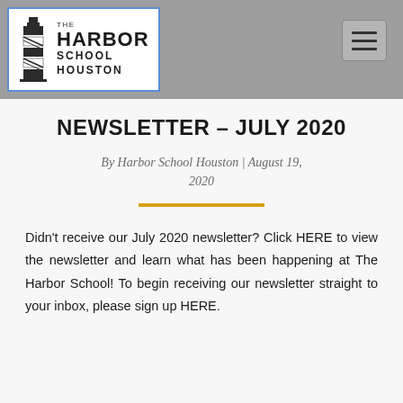[Figure (logo): The Harbor School Houston logo with lighthouse icon and bold text]
NEWSLETTER – JULY 2020
By Harbor School Houston | August 19, 2020
Didn't receive our July 2020 newsletter? Click HERE to view the newsletter and learn what has been happening at The Harbor School! To begin receiving our newsletter straight to your inbox, please sign up HERE.